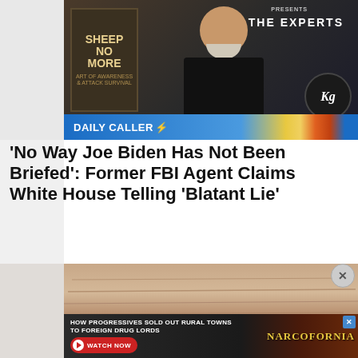[Figure (screenshot): Video thumbnail showing a man with white beard in black jacket, with 'Sheep No More' book sign, 'PRESENTS THE EXPERTS' text, KG logo circle, and Daily Caller banner at bottom]
‘No Way Joe Biden Has Not Been Briefed’: Former FBI Agent Claims White House Telling ‘Blatant Lie’
[Figure (photo): Close-up photo showing wrinkled skin texture, brownish-pink tones]
[Figure (screenshot): Advertisement: HOW PROGRESSIVES SOLD OUT RURAL TOWNS TO FOREIGN DRUG LORDS - NARCOFORNIA - WATCH NOW button]